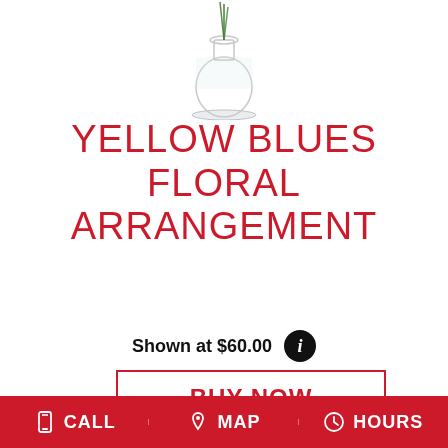[Figure (photo): Partial view of a clear glass vase with green stems, cropped at top of page]
YELLOW BLUES FLORAL ARRANGEMENT
Shown at $60.00
BUY NOW
[Figure (photo): Partial view of white floral arrangement with green foliage on white background]
CALL   MAP   HOURS